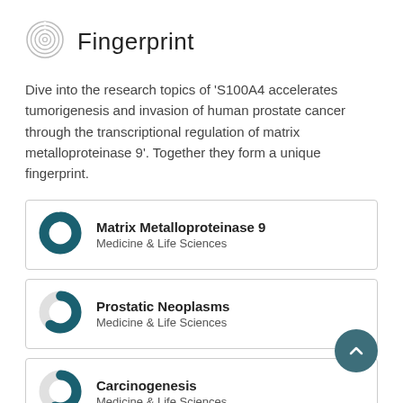Fingerprint
Dive into the research topics of 'S100A4 accelerates tumorigenesis and invasion of human prostate cancer through the transcriptional regulation of matrix metalloproteinase 9'. Together they form a unique fingerprint.
Matrix Metalloproteinase 9 — Medicine & Life Sciences
Prostatic Neoplasms — Medicine & Life Sciences
Carcinogenesis — Medicine & Life Sciences
Genes — Medicine & Life Sciences